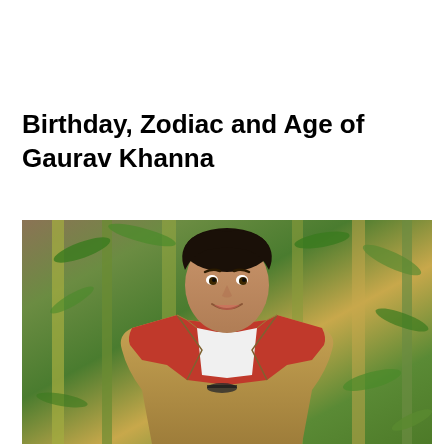Birthday, Zodiac and Age of Gaurav Khanna
[Figure (photo): Photo of Gaurav Khanna, a young man with dark curly hair, smiling, wearing a tan/khaki jacket over a red shirt with a white t-shirt underneath. Background shows green bamboo plants.]